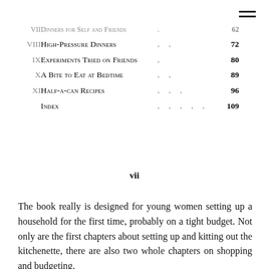| Chapter | Title | Dots | Page |
| --- | --- | --- | --- |
| VII | Dinners for Self and Friends | . | 62 |
| VIII | High-Pressure Dinners | . . | 72 |
| IX | Experiments Tried on Friends | . | 80 |
| X | A Bite to Eat at Bedtime | . . | 89 |
| XI | Half-a-can Recipes | . . . | 96 |
|  | Index | . . . . . | 109 |
vii
The book really is designed for young women setting up a household for the first time, probably on a tight budget. Not only are the first chapters about setting up and kitting out the kitchenette, there are also two whole chapters on shopping and budgeting.